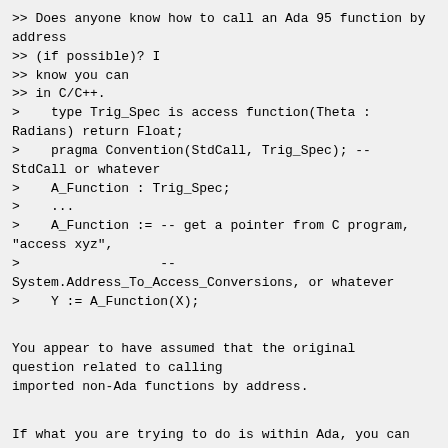>> Does anyone know how to call an Ada 95 function by address
>> (if possible)? I
>> know you can
>> in C/C++.
>    type Trig_Spec is access function(Theta :
Radians) return Float;
>    pragma Convention(StdCall, Trig_Spec); --
StdCall or whatever
>    A_Function : Trig_Spec;
>    ...
>    A_Function := -- get a pointer from C program,
"access xyz",
>                  --
System.Address_To_Access_Conversions, or whatever
>    Y := A_Function(X);
You appear to have assumed that the original
question related to calling
imported non-Ada functions by address.
If what you are trying to do is within Ada, you can
simplify the code above by
missing out the pragma Convention, and using a
different method to assign a
value to A_Function. A simple, but slightly more
complete example would be: